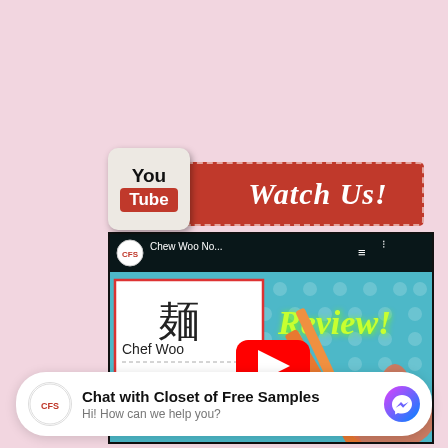[Figure (screenshot): YouTube 'Watch Us!' banner with YouTube logo on left and red ribbon-style banner saying 'Watch Us!' on right, over a pink background]
[Figure (screenshot): YouTube video thumbnail for 'Chew Woo No...' showing a teal polka-dot background, a card with Chinese character 麺, 'Chef Woo', 'Noodles' text, neon 'Review!' text, a red play button, and a hand holding chopsticks]
Chat with Closet of Free Samples
Hi! How can we help you?